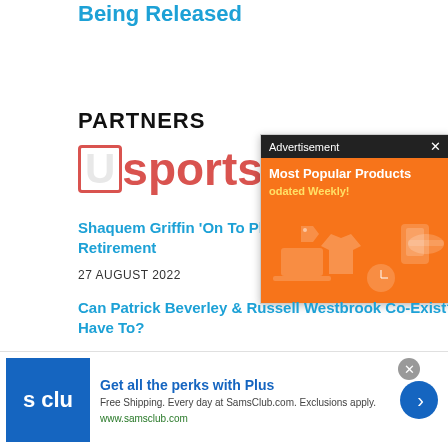Being Released
PARTNERS
[Figure (logo): USports.org logo with red lettering and outlined U icon]
Shaquem Griffin 'On To Plan Retirement
27 AUGUST 2022
[Figure (screenshot): Advertisement popup: Most Popular Products Updated Weekly! on orange background with product icons]
Can Patrick Beverley & Russell Westbrook Co-Exist? Will They Have To?
27 AUGUST 2022
[Figure (infographic): Bottom banner ad: Get all the perks with Plus. Free Shipping. Every day at SamsClub.com. Exclusions apply. www.samsclub.com]